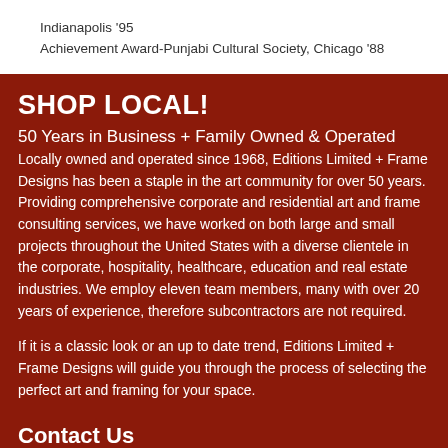Indianapolis '95
Achievement Award-Punjabi Cultural Society, Chicago '88
SHOP LOCAL!
50 Years in Business + Family Owned & Operated
Locally owned and operated since 1968, Editions Limited + Frame Designs has been a staple in the art community for over 50 years. Providing comprehensive corporate and residential art and frame consulting services, we have worked on both large and small projects throughout the United States with a diverse clientele in the corporate, hospitality, healthcare, education and real estate industries. We employ eleven team members, many with over 20 years of experience, therefore subcontractors are not required.
If it is a classic look or an up to date trend, Editions Limited + Frame Designs will guide you through the process of selecting the perfect art and framing for your space.
Contact Us